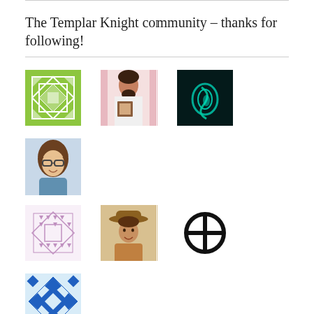The Templar Knight community – thanks for following!
[Figure (illustration): Grid of 10 avatar images of community followers including photos and geometric pattern icons]
Blogroll